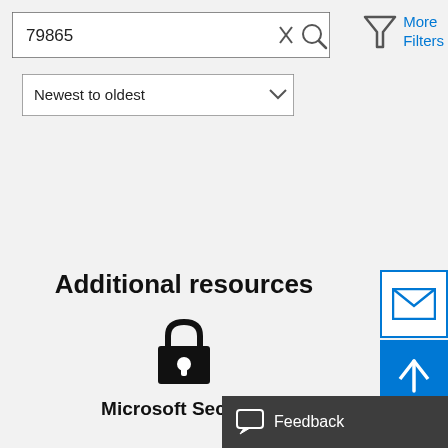[Figure (screenshot): Search input box with text '79865', an X close icon, and a magnifying glass search icon]
[Figure (screenshot): Filter funnel icon with 'More Filters' text in blue]
[Figure (screenshot): Sort dropdown showing 'Newest to oldest' with chevron]
Additional resources
[Figure (illustration): Black padlock icon]
Microsoft Security
[Figure (screenshot): Email envelope icon button in blue outline box]
[Figure (screenshot): Scroll to top arrow icon button on blue background]
[Figure (screenshot): Feedback button with speech bubble icon on dark grey background]